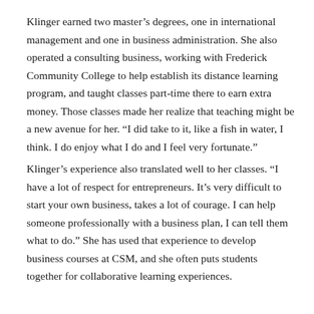Klinger earned two master’s degrees, one in international management and one in business administration. She also operated a consulting business, working with Frederick Community College to help establish its distance learning program, and taught classes part-time there to earn extra money. Those classes made her realize that teaching might be a new avenue for her. “I did take to it, like a fish in water, I think. I do enjoy what I do and I feel very fortunate.”
Klinger’s experience also translated well to her classes. “I have a lot of respect for entrepreneurs. It’s very difficult to start your own business, takes a lot of courage. I can help someone professionally with a business plan, I can tell them what to do.” She has used that experience to develop business courses at CSM, and she often puts students together for collaborative learning experiences.